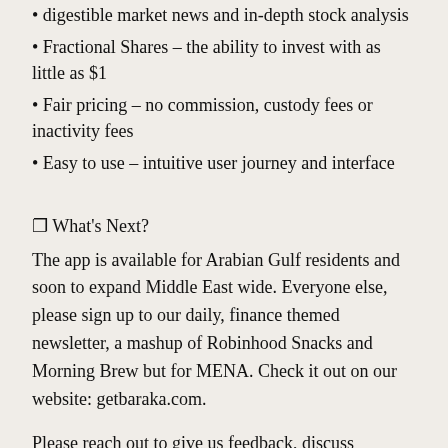digestible market news and in-depth stock analysis
Fractional Shares – the ability to invest with as little as $1
Fair pricing – no commission, custody fees or inactivity fees
Easy to use – intuitive user journey and interface
🔲 What's Next?
The app is available for Arabian Gulf residents and soon to expand Middle East wide. Everyone else, please sign up to our daily, finance themed newsletter, a mashup of Robinhood Snacks and Morning Brew but for MENA. Check it out on our website: getbaraka.com.
Please reach out to give us feedback, discuss product, go-